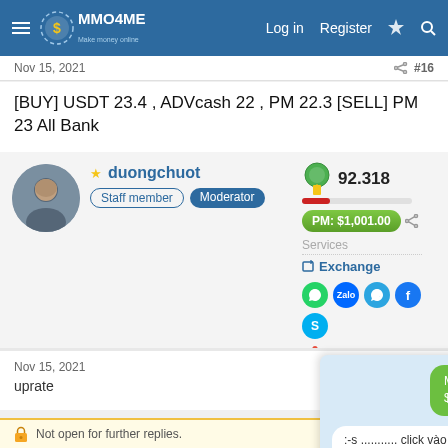MMO4ME — Log in · Register
Nov 15, 2021  #16
[BUY] USDT 23.4 , ADVcash 22 , PM 22.3 [SELL] PM 23 All Bank
duongchuot — Staff member — Moderator — 92.318 — PM: $1,001.00 — Services — Exchange
Nov 15, 2021  #17
uprate
[Figure (screenshot): Chat popup showing two messages: green bubble 'Mình vừa bị scam :( $ cống sức cả tháng :(' and grey bubble ':-s ........... click vào đây nào']
Not open for further replies.